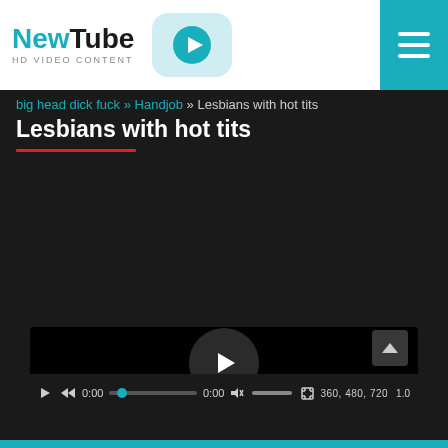NewTube HD VIDEO CONTENT
big head dick fuck » Handjob » Lesbians with hot tits
Lesbians with hot tits
[Figure (screenshot): Video player showing a black screen with a circular play button in the center, and a control bar at the bottom showing playback controls, progress bar, time (0:00), volume, quality options (360, 480, 720), and speed.]